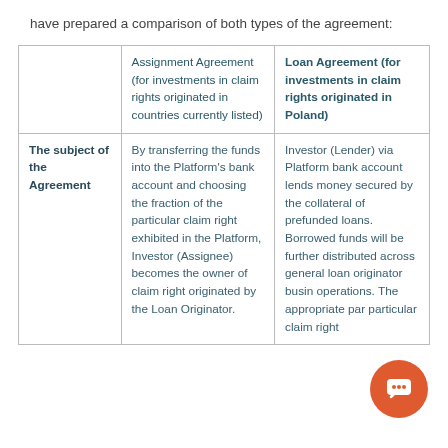have prepared a comparison of both types of the agreement:
|  | Assignment Agreement (for investments in claim rights originated in countries currently listed) | Loan Agreement (for investments in claim rights originated in Poland) |
| --- | --- | --- |
| The subject of the Agreement | By transferring the funds into the Platform's bank account and choosing the fraction of the particular claim right exhibited in the Platform, Investor (Assignee) becomes the owner of claim right originated by the Loan Originator. | Investor (Lender) via Platform bank account lends money secured by the collateral of prefunded loans. Borrowed funds will be further distributed across general loan originator business operations. The appropriate part of particular claim right... |